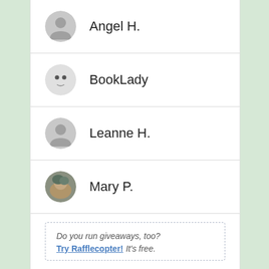Angel H.
BookLady
Leanne H.
Mary P.
Do you run giveaways, too? Try Rafflecopter! It's free.